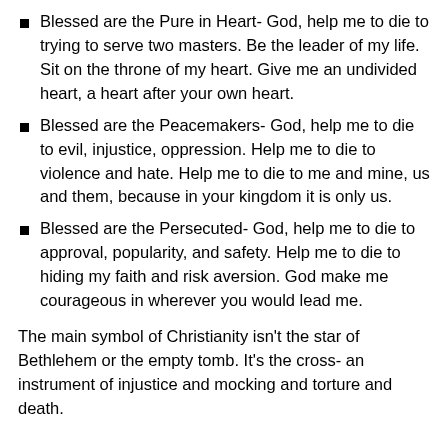Blessed are the Pure in Heart- God, help me to die to trying to serve two masters. Be the leader of my life. Sit on the throne of my heart. Give me an undivided heart, a heart after your own heart.
Blessed are the Peacemakers- God, help me to die to evil, injustice, oppression. Help me to die to violence and hate. Help me to die to me and mine, us and them, because in your kingdom it is only us.
Blessed are the Persecuted- God, help me to die to approval, popularity, and safety. Help me to die to hiding my faith and risk aversion. God make me courageous in wherever you would lead me.
The main symbol of Christianity isn’t the star of Bethlehem or the empty tomb. It’s the cross- an instrument of injustice and mocking and torture and death.